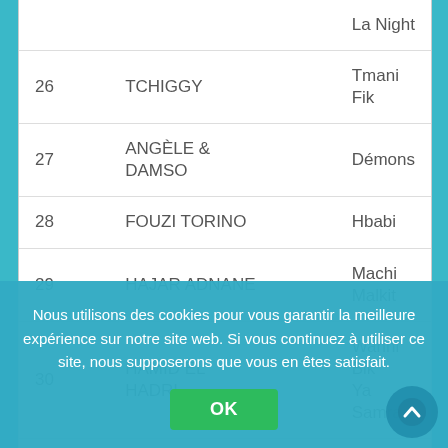| # | Artist | Song |
| --- | --- | --- |
| 26 | TCHIGGY | Tmani Fik |
| 27 | ANGÈLE & DAMSO | Démons |
| 28 | FOUZI TORINO | Hbabi |
| 29 | HAJAR ADNANE | Machi Malkit |
| 30 | HAMID EL HADRI | Wanni Bik Ya Samra |
| 31 | ISLEM 23 | Ana Et Rasi |
| 32 | RYM | Stylo Warga |
| 34 | TATI G13 | Iskandar |
Nous utilisons des cookies pour vous garantir la meilleure expérience sur notre site web. Si vous continuez à utiliser ce site, nous supposerons que vous en êtes satisfait.
OK